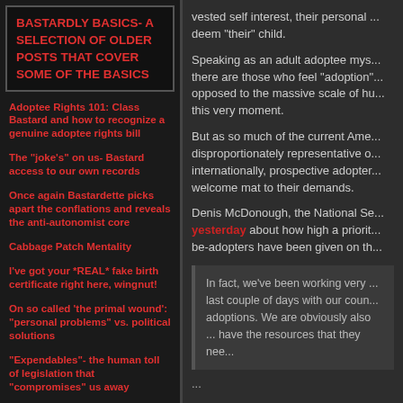BASTARDLY BASICS- A SELECTION OF OLDER POSTS THAT COVER SOME OF THE BASICS
Adoptee Rights 101: Class Bastard and how to recognize a genuine adoptee rights bill
The "joke's" on us- Bastard access to our own records
Once again Bastardette picks apart the conflations and reveals the anti-autonomist core
Cabbage Patch Mentality
I've got your *REAL* fake birth certificate right here, wingnut!
On so called 'the primal wound': "personal problems" vs. political solutions
"Expendables"- the human toll of legislation that "compromises" us away
Bastard Access- either we all go together or we don't go at all- "Nobody gets left behind. Or forgotten."
vested self interest, their personal ... deem "their" child.
Speaking as an adult adoptee mys... there are those who feel "adoption"... opposed to the massive scale of hu... this very moment.
But as so much of the current Ame... disproportionately representative o... internationally, prospective adopter... welcome mat to their demands.
Denis McDonough, the National Se... yesterday about how high a priorit... be-adopters have been given on th...
In fact, we've been working very ... last couple of days with our coun... adoptions. We are obviously also ... have the resources that they nee...
...
There has been an intense amo...